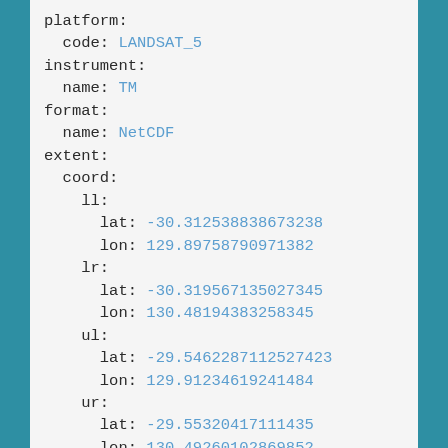platform:
  code: LANDSAT_5
instrument:
  name: TM
format:
  name: NetCDF
extent:
  coord:
    ll:
      lat: -30.312538838673238
      lon: 129.89758790971382
    lr:
      lat: -30.319567135027345
      lon: 130.48194383258345
    ul:
      lat: -29.5462287112527423
      lon: 129.91234619241484
    ur:
      lat: -29.55320417111435
      lon: 130.49260102869852